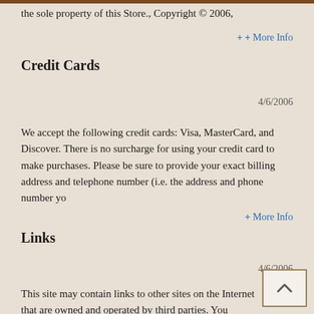the sole property of this Store., Copyright © 2006,
+ More Info
Credit Cards
4/6/2006
We accept the following credit cards: Visa, MasterCard, and Discover. There is no surcharge for using your credit card to make purchases. Please be sure to provide your exact billing address and telephone number (i.e. the address and phone number yo
+ More Info
Links
4/6/2006
This site may contain links to other sites on the Internet that are owned and operated by third parties. You acknowledge that we're